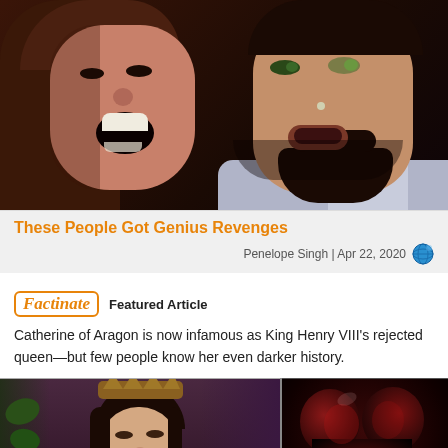[Figure (photo): Two people: a woman on the left with mouth open wide showing teeth, and a man on the right with dark beard and facial stubble, looking shocked. Dark dramatic lighting.]
These People Got Genius Revenges
Penelope Singh | Apr 22, 2020
[Figure (logo): Factinate logo in orange italic script with border]
Featured Article
Catherine of Aragon is now infamous as King Henry VIII’s rejected queen—but few people know her even darker history.
[Figure (photo): Left: A woman dressed as a queen wearing a crown and red/brown medieval dress, with dark hair, looking downward with calm expression. Right: A dark glossy heart-shaped or creature-shaped object with deep red tones, very dark and dramatic.]